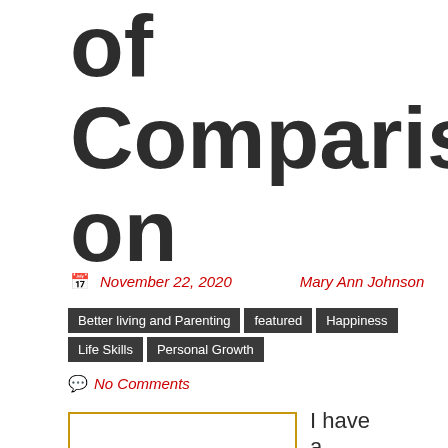of Comparison
November 22, 2020   Mary Ann Johnson
Better living and Parenting | featured | Happiness | Life Skills | Personal Growth
No Comments
[Figure (other): Yellow-bordered image box, partially visible at bottom of page]
I have a